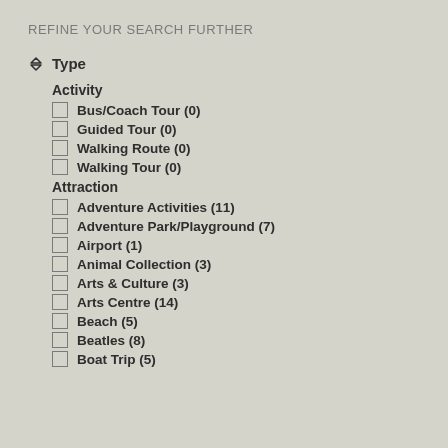REFINE YOUR SEARCH FURTHER
Type
Activity
Bus/Coach Tour  (0)
Guided Tour  (0)
Walking Route  (0)
Walking Tour  (0)
Attraction
Adventure Activities  (11)
Adventure Park/Playground  (7)
Airport  (1)
Animal Collection  (3)
Arts & Culture  (3)
Arts Centre  (14)
Beach  (5)
Beatles  (8)
Boat Trip  (5)